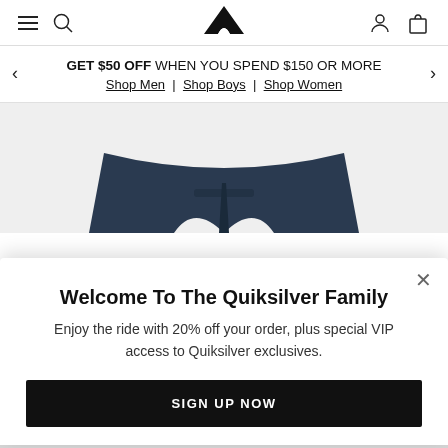[Figure (screenshot): Quiksilver website navigation bar with hamburger menu, search icon, Quiksilver mountain wave logo, user icon, and shopping bag icon]
GET $50 OFF WHEN YOU SPEND $150 OR MORE
Shop Men | Shop Boys | Shop Women
[Figure (photo): Quiksilver board shorts product shown from above against grey background, dark navy color]
Welcome To The Quiksilver Family
Enjoy the ride with 20% off your order, plus special VIP access to Quiksilver exclusives.
SIGN UP NOW
[Figure (photo): Bottom product carousel strip showing Quiksilver board shorts in various colors]